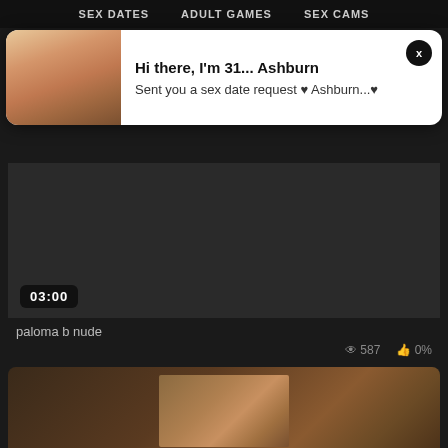SEX DATES   ADULT GAMES   SEX CAMS
[Figure (screenshot): Popup notification with female photo on left and text: Hi there, I'm 31... Ashburn / Sent you a sex date request ♥ Ashburn...♥ with X close button]
[Figure (screenshot): Dark video thumbnail with duration stamp 03:00]
paloma b nude
👁 587   👍 0%
[Figure (screenshot): Dark video thumbnail at bottom of page showing partial image]